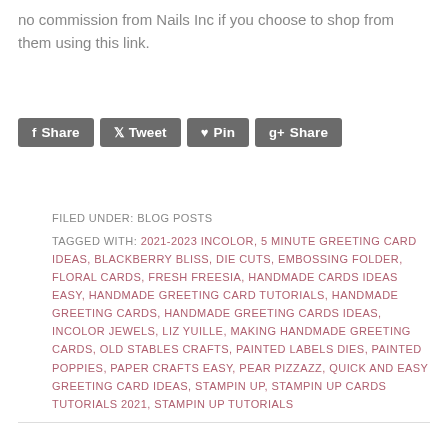no commission from Nails Inc if you choose to shop from them using this link.
[Figure (infographic): Social sharing buttons: Facebook Share, Twitter Tweet, Pinterest Pin, Google+ Share]
FILED UNDER: BLOG POSTS
TAGGED WITH: 2021-2023 INCOLOR, 5 MINUTE GREETING CARD IDEAS, BLACKBERRY BLISS, DIE CUTS, EMBOSSING FOLDER, FLORAL CARDS, FRESH FREESIA, HANDMADE CARDS IDEAS EASY, HANDMADE GREETING CARD TUTORIALS, HANDMADE GREETING CARDS, HANDMADE GREETING CARDS IDEAS, INCOLOR JEWELS, LIZ YUILLE, MAKING HANDMADE GREETING CARDS, OLD STABLES CRAFTS, PAINTED LABELS DIES, PAINTED POPPIES, PAPER CRAFTS EASY, PEAR PIZZAZZ, QUICK AND EASY GREETING CARD IDEAS, STAMPIN UP, STAMPIN UP CARDS TUTORIALS 2021, STAMPIN UP TUTORIALS